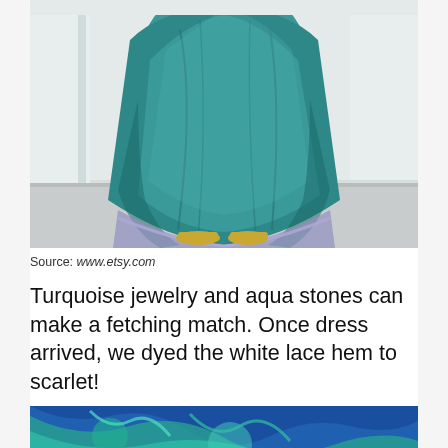[Figure (photo): Person wearing a crinkled teal/turquoise full-length dress with a layered hem, standing in a white room, wearing gold/yellow flat shoes. The face and upper body are cropped out. The hem shows a purple/lavender underlayer.]
Source: www.etsy.com
Turquoise jewelry and aqua stones can make a fetching match. Once dress arrived, we dyed the white lace hem to scarlet!
[Figure (photo): Partial view of another photo showing blue and teal fabric textures, cropped at bottom of page.]